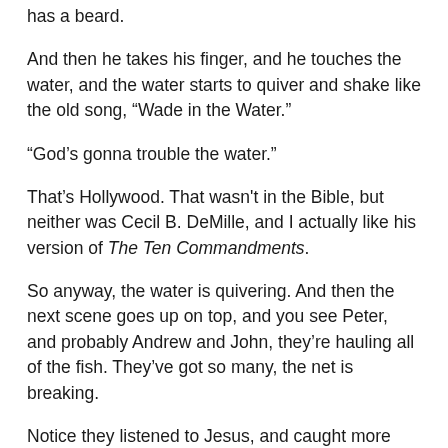has a beard.
And then he takes his finger, and he touches the water, and the water starts to quiver and shake like the old song, “Wade in the Water.”
“God’s gonna trouble the water.”
That’s Hollywood. That wasn't in the Bible, but neither was Cecil B. DeMille, and I actually like his version of The Ten Commandments.
So anyway, the water is quivering. And then the next scene goes up on top, and you see Peter, and probably Andrew and John, they’re hauling all of the fish. They’ve got so many, the net is breaking.
Notice they listened to Jesus, and caught more fish than they did when they were doing it on their own.
That’s another lesson, but we’ll talk about that later.
Anyway they’re trying to pull up all these fish, and then Jesus